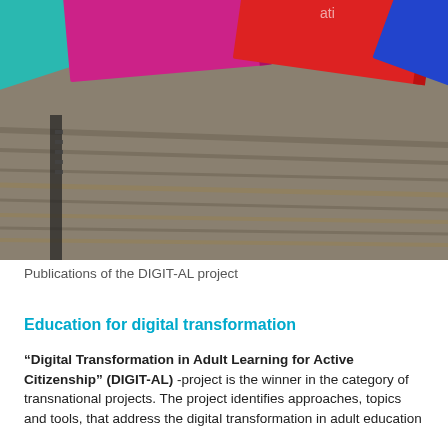[Figure (photo): A fan of colorful notebooks or booklets spread on a wooden surface. Colors include green, teal, magenta/pink, red, blue, and purple. The top-right notebook shows partial text reading 'Digital Transformation for Active Citizenship'.]
Publications of the DIGIT-AL project
Education for digital transformation
“Digital Transformation in Adult Learning for Active Citizenship” (DIGIT-AL) -project is the winner in the category of transnational projects. The project identifies approaches, topics and tools, that address the digital transformation in adult education